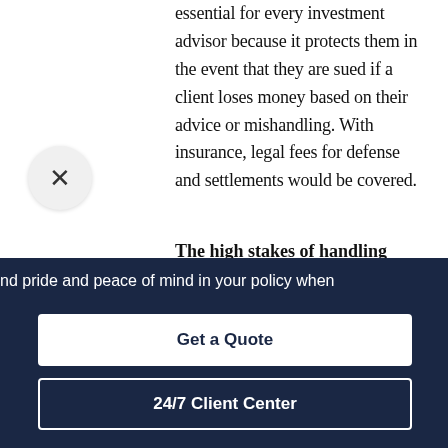essential for every investment advisor because it protects them in the event that they are sued if a client loses money based on their advice or mishandling. With insurance, legal fees for defense and settlements would be covered.
The high stakes of handling investments.
There's no doubt that investments
nd pride and peace of mind in your policy when
Get a Quote
24/7 Client Center